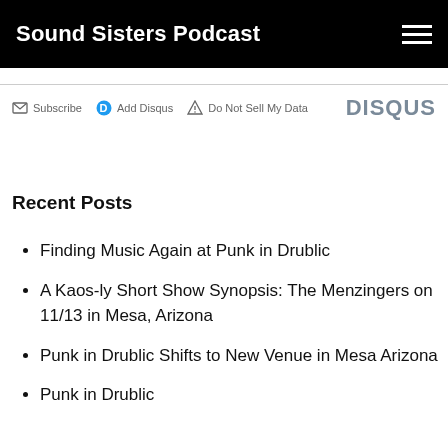Sound Sisters Podcast
Subscribe  Add Disqus  Do Not Sell My Data  DISQUS
Recent Posts
Finding Music Again at Punk in Drublic
A Kaos-ly Short Show Synopsis: The Menzingers on 11/13 in Mesa, Arizona
Punk in Drublic Shifts to New Venue in Mesa Arizona
Punk in Drublic